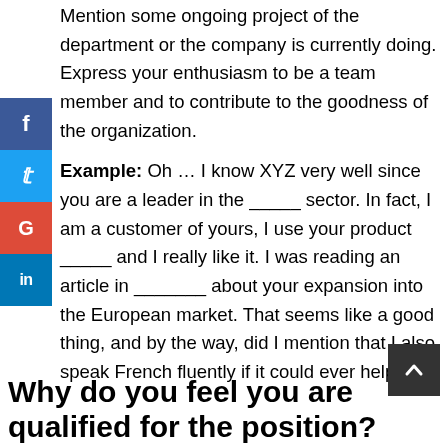Mention some ongoing project of the department or the company is currently doing. Express your enthusiasm to be a team member and to contribute to the goodness of the organization.
Example: Oh … I know XYZ very well since you are a leader in the _____ sector. In fact, I am a customer of yours, I use your product _____ and I really like it. I was reading an article in _______ about your expansion into the European market. That seems like a good thing, and by the way, did I mention that I also speak French fluently if it could ever help?
Why do you feel you are qualified for the position?